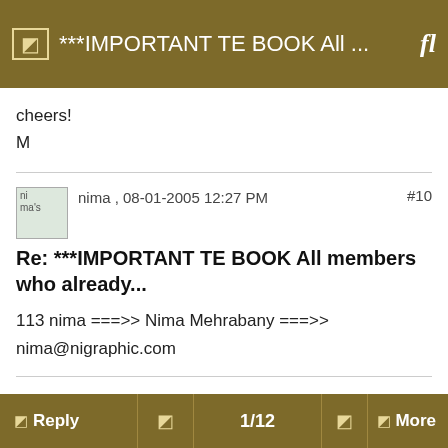***IMPORTANT TE BOOK All ...
cheers!
M
nima , 08-01-2005 12:27 PM  #10
Re: ***IMPORTANT TE BOOK All members who already...
113 nima ===>> Nima Mehrabany ===>> nima@nigraphic.com
Reply  1/12  More